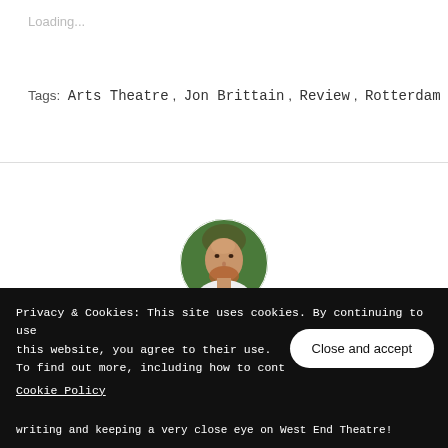Loading...
Tags:  Arts Theatre ,  Jon Brittain ,  Review ,  Rotterdam
[Figure (photo): Circular avatar photo of a bald man with a beard wearing a white t-shirt, photographed outdoors with green foliage background]
Privacy & Cookies: This site uses cookies. By continuing to use this website, you agree to their use.
To find out more, including how to cont
Cookie Policy
Close and accept
writing and keeping a very close eye on West End Theatre!